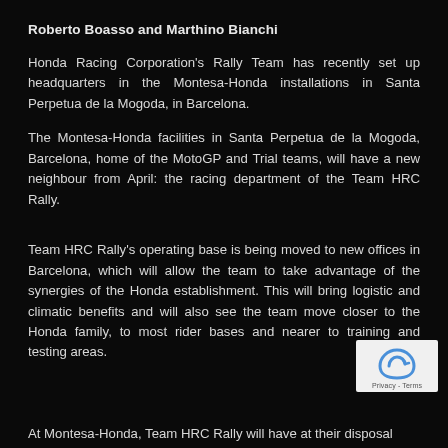Roberto Boasso and Marthino Bianchi
Honda Racing Corporation’s Rally Team has recently set up headquarters in the Montesa-Honda installations in Santa Perpetua de la Mogoda, in Barcelona.
The Montesa-Honda facilities in Santa Perpetua de la Mogoda, Barcelona, home of the MotoGP and Trial teams, will have a new neighbour from April: the racing department of the Team HRC Rally.
Team HRC Rally’s operating base is being moved to new offices in Barcelona, which will allow the team to take advantage of the synergies of the Honda establishment. This will bring logistic and climatic benefits and will also see the team move closer to the Honda family, to most rider bases and nearer to training and testing areas.
At Montesa-Honda, Team HRC Rally will have at their disposal